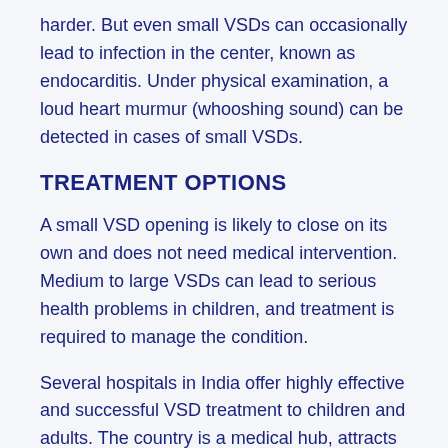harder. But even small VSDs can occasionally lead to infection in the center, known as endocarditis. Under physical examination, a loud heart murmur (whooshing sound) can be detected in cases of small VSDs.
TREATMENT OPTIONS
A small VSD opening is likely to close on its own and does not need medical intervention. Medium to large VSDs can lead to serious health problems in children, and treatment is required to manage the condition.
Several hospitals in India offer highly effective and successful VSD treatment to children and adults. The country is a medical hub, attracts